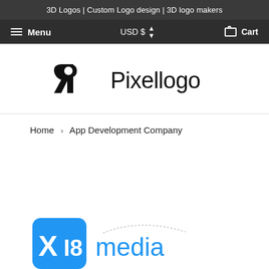3D Logos | Custom Logo design | 3D logo makers
Menu    USD $    Cart
[Figure (logo): Pixellogo brand logo with stylized P icon and text 'Pixellogo']
Home › App Development Company
[Figure (logo): Partial view of XI8 media logo at bottom of page]